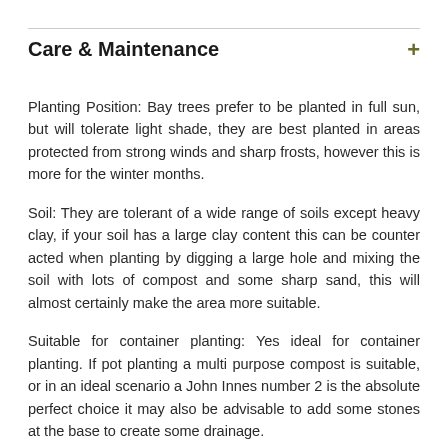Care & Maintenance
Planting Position: Bay trees prefer to be planted in full sun, but will tolerate light shade, they are best planted in areas protected from strong winds and sharp frosts, however this is more for the winter months.
Soil: They are tolerant of a wide range of soils except heavy clay, if your soil has a large clay content this can be counter acted when planting by digging a large hole and mixing the soil with lots of compost and some sharp sand, this will almost certainly make the area more suitable.
Suitable for container planting: Yes ideal for container planting. If pot planting a multi purpose compost is suitable, or in an ideal scenario a John Innes number 2 is the absolute perfect choice it may also be advisable to add some stones at the base to create some drainage.
Eventual height and spread: Can if left uncared for grow up to 12 metres with a spread of 12 metres, but as most people have these